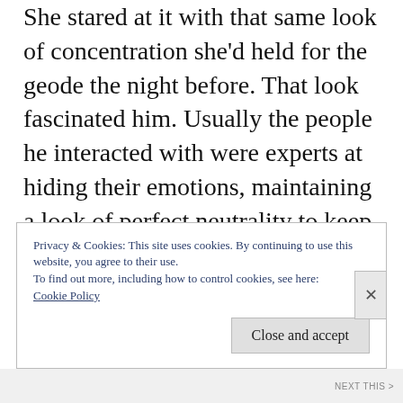She stared at it with that same look of concentration she'd held for the geode the night before. That look fascinated him. Usually the people he interacted with were experts at hiding their emotions, maintaining a look of perfect neutrality to keep anyone from reading their minds, or rather, their cards. Juliet's face was a completely open book, revealing her excitement and interest in whatever it was she was concentrating on at the moment. It was refreshing, and very attractive.
Privacy & Cookies: This site uses cookies. By continuing to use this website, you agree to their use.
To find out more, including how to control cookies, see here: Cookie Policy